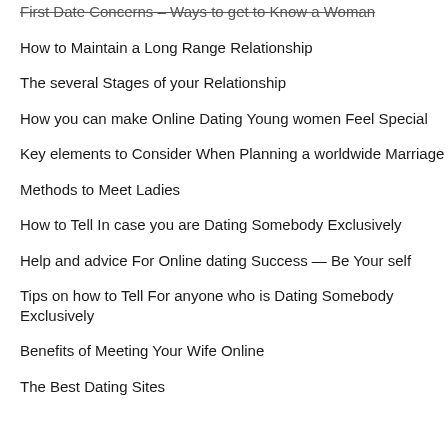First Date Concerns – Ways to get to Know a Woman
How to Maintain a Long Range Relationship
The several Stages of your Relationship
How you can make Online Dating Young women Feel Special
Key elements to Consider When Planning a worldwide Marriage
Methods to Meet Ladies
How to Tell In case you are Dating Somebody Exclusively
Help and advice For Online dating Success — Be Your self
Tips on how to Tell For anyone who is Dating Somebody Exclusively
Benefits of Meeting Your Wife Online
The Best Dating Sites